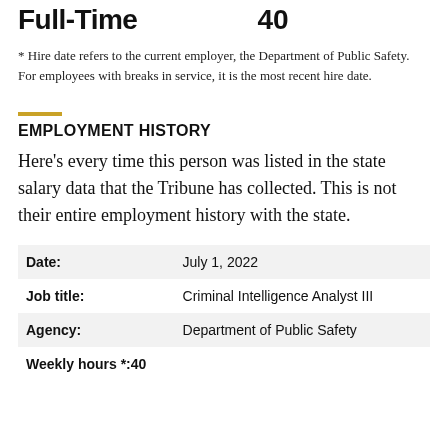Full-Time   40
* Hire date refers to the current employer, the Department of Public Safety. For employees with breaks in service, it is the most recent hire date.
EMPLOYMENT HISTORY
Here’s every time this person was listed in the state salary data that the Tribune has collected. This is not their entire employment history with the state.
|  |  |
| --- | --- |
| Date: | July 1, 2022 |
| Job title: | Criminal Intelligence Analyst III |
| Agency: | Department of Public Safety |
| Weekly hours *: | 40 |